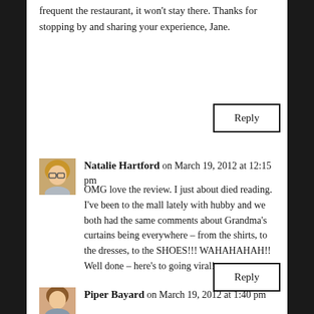frequent the restaurant, it won't stay there. Thanks for stopping by and sharing your experience, Jane.
Reply
Natalie Hartford on March 19, 2012 at 12:15 pm
OMG love the review. I just about died reading. I've been to the mall lately with hubby and we both had the same comments about Grandma's curtains being everywhere – from the shirts, to the dresses, to the SHOES!!! WAHAHAHAH!! Well done – here's to going viral!
Reply
Piper Bayard on March 19, 2012 at 1:40 pm